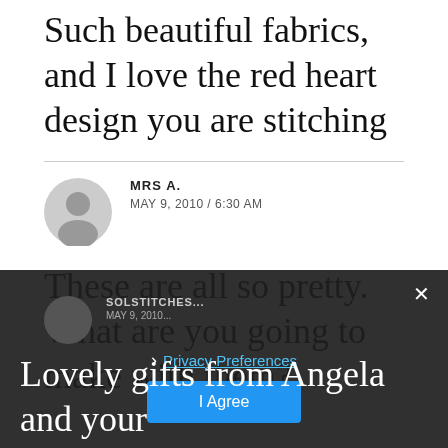Such beautiful fabrics, and I love the red heart design you are stitching
MRS A.
MAY 9, 2010 / 6:30 AM
These are all so pretty. What are you going to make with them?
SOLSTITCHES... MAY 9, 2010...
Privacy Preferences
I Agree
Lovely gifts from Angela and your